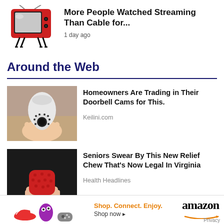[Figure (illustration): Red retro television set with antenna]
More People Watched Streaming Than Cable for...
1 day ago
Around the Web
[Figure (photo): Hand holding a white security camera]
Homeowners Are Trading in Their Doorbell Cams for This.
Keilini.com
[Figure (photo): Hand holding a red gummy chew]
Seniors Swear By This New Relief Chew That's Now Legal In Virginia
Health Headlines
[Figure (photo): Teaspoon with white powder on wooden surface]
A Teaspoon on an Empty Stomach Drops Body Weight Like Crazy!
[Figure (advertisement): Amazon ad with Shop. Connect. Enjoy. tagline]